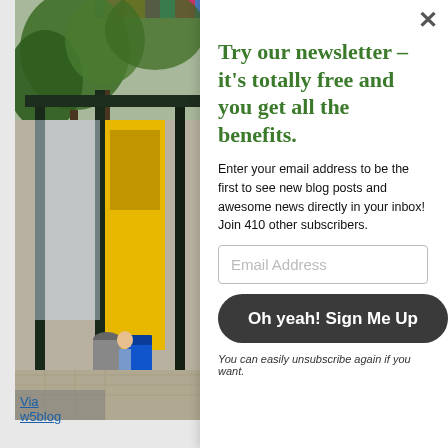[Figure (photo): Outdoor urban street scene showing a bus stop or transit station with trees, a yellow kiosk/display panel, people walking on the sidewalk, and colorful awning visible at top]
Try our newsletter – it's totally free and you get all the benefits.
Enter your email address to be the first to see new blog posts and awesome news directly in your inbox!
Join 410 other subscribers.
Email Address
Oh yeah! Sign Me Up
You can easily unsubscribe again if you want.
Via w5blog